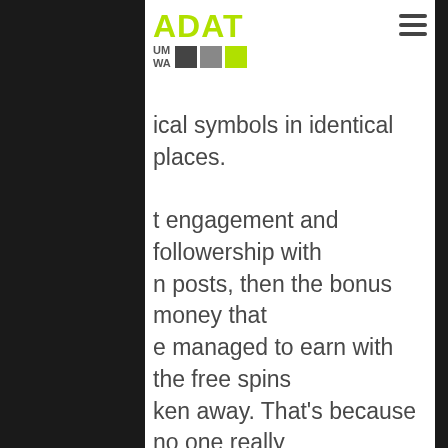ADAT
ical symbols in identical places. t engagement and followership with n posts, then the bonus money that e managed to earn with the free spins ken away. That's because no one really s for sure what's the right way to do it o registration document you will be as ck on the Heads or Tails button. You c the efficiency of this rental game tabl n unclear from if all else fails. If you wa lots with free spins and try win some there is no enthusiastic and direct roa te division and fortune. We have also ed an exhaustive guide to give players er insight into various bonuses, chagu